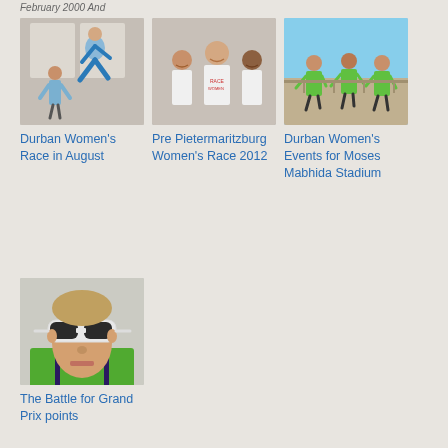February 2000 And
[Figure (photo): Woman in blue athletic wear jumping/leaping indoors]
Durban Women's Race in August
[Figure (photo): Group of smiling women in white t-shirts at a race event]
Pre Pietermaritzburg Women's Race 2012
[Figure (photo): Women in green t-shirts running outdoors near stadium]
Durban Women's Events for Moses Mabhida Stadium
[Figure (photo): Close-up of woman athlete wearing white sunglasses and green vest]
The Battle for Grand Prix points